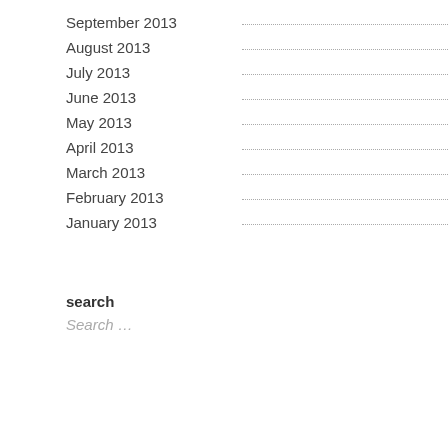September 2013
August 2013
July 2013
June 2013
May 2013
April 2013
March 2013
February 2013
January 2013
search
Search …